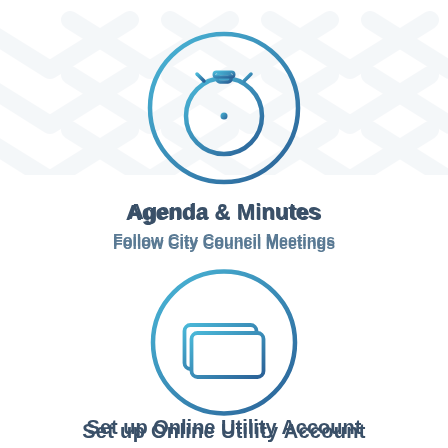[Figure (illustration): Background chevron/arrow pattern in light gray at top of page]
[Figure (illustration): Circular icon with stopwatch/timer symbol in blue gradient outline]
Agenda & Minutes
Follow City Council Meetings
[Figure (illustration): Circular icon with payment/credit card symbol in blue gradient outline]
Set up Online Utility Account
View & Pay your Bill
[Figure (illustration): Partial circular icon at bottom of page, blue gradient outline (cropped)]